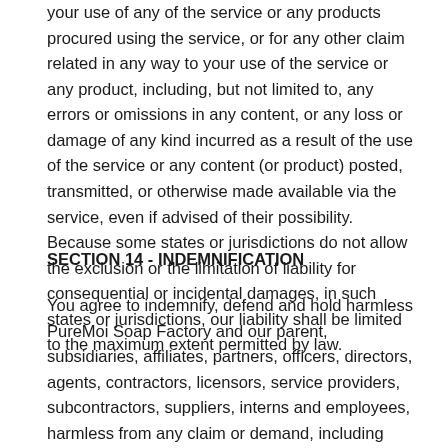your use of any of the service or any products procured using the service, or for any other claim related in any way to your use of the service or any product, including, but not limited to, any errors or omissions in any content, or any loss or damage of any kind incurred as a result of the use of the service or any content (or product) posted, transmitted, or otherwise made available via the service, even if advised of their possibility. Because some states or jurisdictions do not allow the exclusion or the limitation of liability for consequential or incidental damages, in such states or jurisdictions, our liability shall be limited to the maximum extent permitted by law.
SECTION 14 - INDEMNIFICATION
You agree to indemnify, defend and hold harmless PureMoi Soap Factory and our parent, subsidiaries, affiliates, partners, officers, directors, agents, contractors, licensors, service providers, subcontractors, suppliers, interns and employees, harmless from any claim or demand, including reasonable attorneys' fees, made by any third-party due to or arising out of your breach of these Terms of Service or the documents they incorporate by reference, or your violation of any law or the